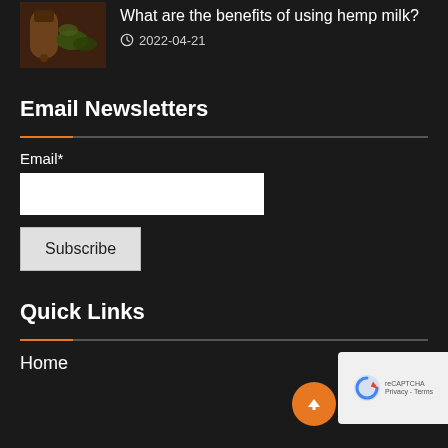[Figure (photo): Small thumbnail photo of hemp/CBD oil bottle with cannabis buds on a wooden surface]
What are the benefits of using hemp milk?
2022-04-21
Email Newsletters
Email*
Subscribe
Quick Links
Home